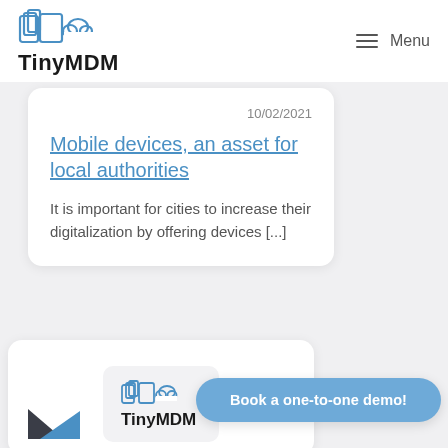TinyMDM | Menu
10/02/2021
Mobile devices, an asset for local authorities
It is important for cities to increase their digitalization by offering devices [...]
[Figure (logo): TinyMDM logo with devices and cloud icon, partially visible in second card with envelope graphic]
Book a one-to-one demo!